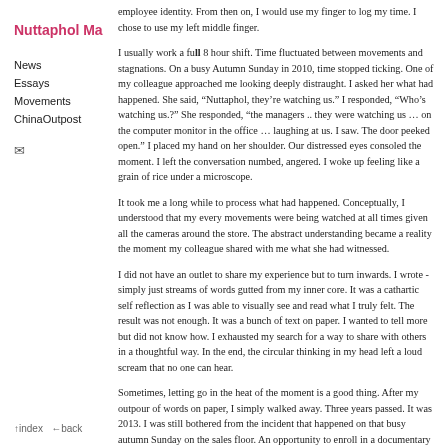Nuttaphol Ma
News
Essays
Movements
ChinaOutpost
employee identity.  From then on, I would use my finger to log my time.  I chose to use my left middle finger.
I usually work a full 8 hour shift.  Time fluctuated between movements and stagnations.  On a busy Autumn Sunday in 2010, time stopped ticking.  One of my colleague approached me looking deeply distraught.  I asked her what had happened.  She said, “Nuttaphol, they’re watching us.”  I responded, “Who’s watching us.?”  She responded, “the managers .. they were watching us … on the computer monitor in the office … laughing at us.  I saw.  The door peeked open.”  I placed my hand on her shoulder.  Our distressed eyes consoled the moment.  I left the conversation numbed, angered.  I woke up feeling like a grain of rice under a microscope.
It took me a long while to process what had happened.  Conceptually, I understood that my every movements were being watched at all times given all the cameras around the store.  The abstract understanding became a reality the moment my colleague shared with me what she had witnessed.
I did not have an outlet to share my experience but to turn inwards.  I wrote - simply just streams of words gutted from my inner core.  It was a cathartic self reflection as I was able to visually see and read what I truly felt.  The result was not enough.  It was a bunch of text on paper.  I wanted to tell more but did not know how.  I exhausted my search for a way to share with others in a thoughtful way.  In the end, the circular thinking in my head left a loud scream that no one can hear.
Sometimes, letting go in the heat of the moment is a good thing.  After my outpour of words on paper, I simply walked away.  Three years passed.  It was 2013.  I was still bothered from the incident that happened on that busy autumn Sunday on the sales floor.  An opportunity to enroll in a documentary filmmaking workshop came my way.  I took up this new medium thinking that perhaps this unfamiliar process will offer a different perspective.  I’ll simply wander and allow the camera to tell my story not knowing where
↑index   ←back